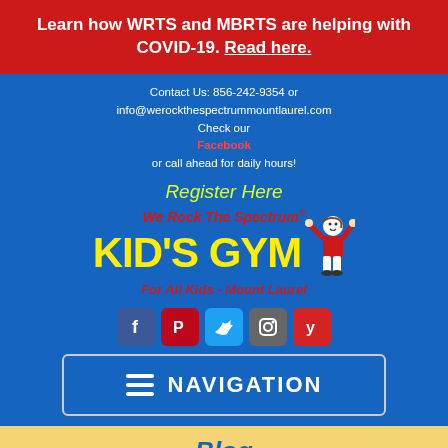Learn how WRTS and MBRTS are helping with COVID-19. Read here.
Contact Us: 856-242-9354 or info@werockthespectrummountlaurel.com Check our Facebook or call ahead for daily hours!
Register Here
[Figure (logo): We Rock The Spectrum Kid's Gym - For All Kids - Mount Laurel logo with cartoon child figure]
[Figure (infographic): Social media icons: Facebook, Pinterest, Twitter, Instagram, Yelp]
NAVIGATION
Blog